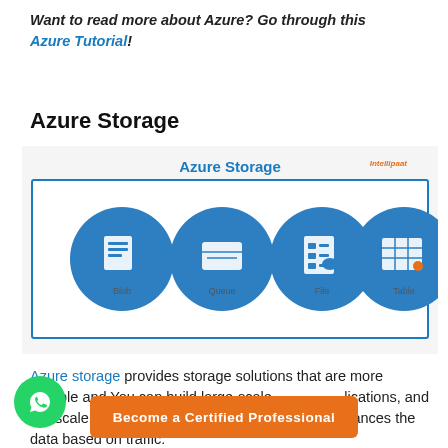Want to read more about Azure? Go through this Azure Tutorial!
Azure Storage
[Figure (infographic): Azure Storage diagram showing four blue circular icons representing storage types (Blob, Queue, Table, File) in a bordered rectangle with 'Azure Storage' title and Intellipaat logo]
Azure storage provides storage solutions that are more durable and You can build large-scale applications, and still scale higher if needed, and it automatically balances the data based on traffic.
[Figure (other): WhatsApp contact button (green circle with WhatsApp logo)]
Become a Certified Professional